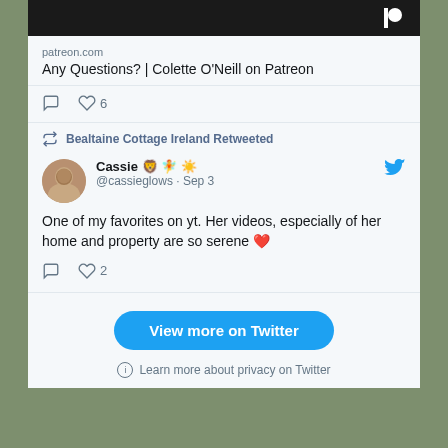[Figure (screenshot): Twitter/social media embed screenshot showing a Patreon link card and a retweeted tweet from @cassieglows about Bealtaine Cottage Ireland with a 'View more on Twitter' button]
patreon.com
Any Questions? | Colette O'Neill on Patreon
Bealtaine Cottage Ireland Retweeted
Cassie 🦁 🧚 🌞 @cassieglows · Sep 3
One of my favorites on yt. Her videos, especially of her home and property are so serene ❤️
View more on Twitter
Learn more about privacy on Twitter